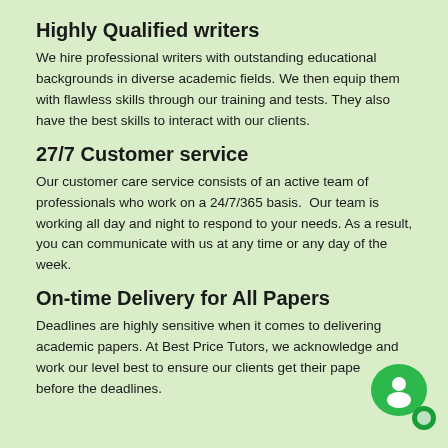Highly Qualified writers
We hire professional writers with outstanding educational backgrounds in diverse academic fields. We then equip them with flawless skills through our training and tests. They also have the best skills to interact with our clients.
27/7 Customer service
Our customer care service consists of an active team of professionals who work on a 24/7/365 basis.  Our team is working all day and night to respond to your needs. As a result, you can communicate with us at any time or any day of the week.
On-time Delivery for All Papers
Deadlines are highly sensitive when it comes to delivering academic papers. At Best Price Tutors, we acknowledge and work our level best to ensure our clients get their papers before the deadlines.
[Figure (illustration): Green chat bubble icon with a person silhouette in the bottom right corner of the page]